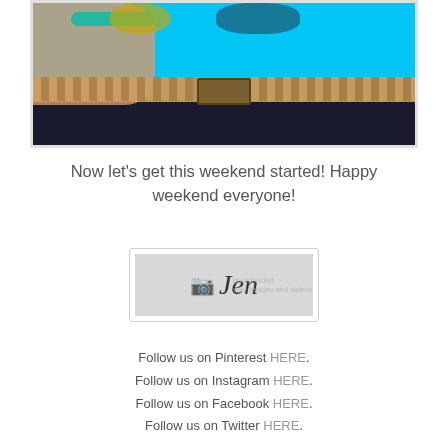[Figure (photo): Close-up photo of a person wearing a bright turquoise/cyan shirt with a leopard print belt and dark pants, with bracelets and sunglasses visible]
Now let's get this weekend started! Happy weekend everyone!
[Figure (illustration): Signature image showing cursive 'Jen' text on a gray background with a camera icon watermark, photobucket watermark visible]
Follow us on Pinterest HERE. Follow us on Instagram HERE. Follow us on Facebook HERE. Follow us on Twitter HERE.